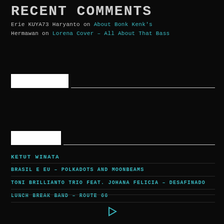RECENT COMMENTS
Erie KUYA73 Haryanto on About Bonk Kenk's
Hermawan on Lorena Cover – All About That Bass
[Figure (other): Search input bar with white input box and horizontal line]
[Figure (other): Search input bar with white input box and horizontal line]
KETUT WINATA
BRASIL E EU – POLKADOTS AND MOONBEAMS
TONI BRILLIANTO TRIO FEAT. JOHANA FELICIA – DESAFINADO
LUNCH BREAK BAND – ROUTE 66
[Figure (other): Play button triangle icon]